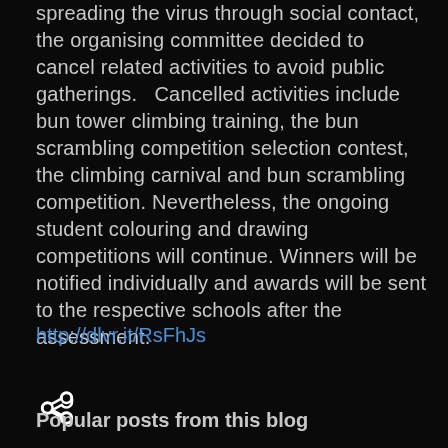spreading the virus through social contact, the organising committee decided to cancel related activities to avoid public gatherings.   Cancelled activities include bun tower climbing training, the bun scrambling competition selection contest, the climbing carnival and bun scrambling competition. Nevertheless, the ongoing student colouring and drawing competitions will continue. Winners will be notified individually and awards will be sent to the respective schools after the assessment.
http://dlvr.it/RsFhJs
[Figure (other): Share icon (less-than sign shaped share button)]
Popular posts from this blog